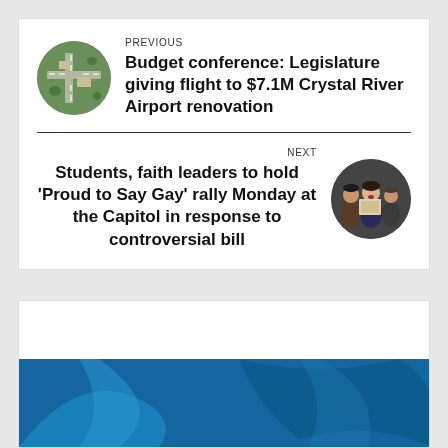PREVIOUS
Budget conference: Legislature giving flight to $7.1M Crystal River Airport renovation
NEXT
Students, faith leaders to hold 'Proud to Say Gay' rally Monday at the Capitol in response to controversial bill
[Figure (photo): Aerial photo of Crystal River Airport]
[Figure (photo): Photo of students and faith leaders at rally]